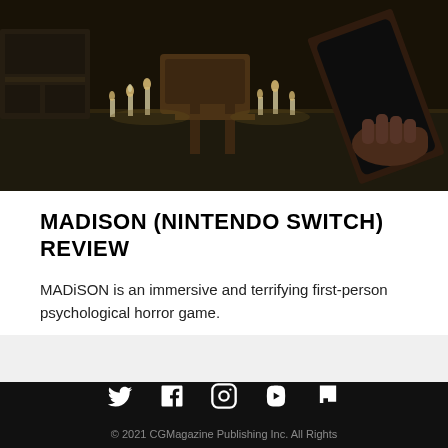[Figure (photo): Dark atmospheric screenshot from the horror game MADiSON showing a table with candles, a chair, and a hand holding a smartphone in a dimly lit room.]
MADISON (NINTENDO SWITCH) REVIEW
MADiSON is an immersive and terrifying first-person psychological horror game.
© 2021 CGMagazine Publishing Inc. All Rights